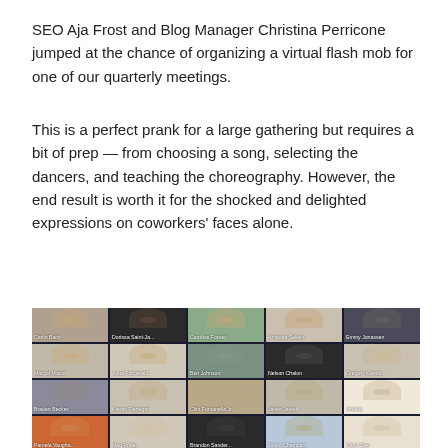SEO Aja Frost and Blog Manager Christina Perricone jumped at the chance of organizing a virtual flash mob for one of our quarterly meetings.
This is a perfect prank for a large gathering but requires a bit of prep — from choosing a song, selecting the dancers, and teaching the choreography. However, the end result is worth it for the shocked and delighted expressions on coworkers' faces alone.
[Figure (photo): Screenshot of a Zoom video call showing a 5x4 grid of participants including Carlin Back, Dorissa Saint-Ja..., Caroline Forsey, Amanda Sellers, Emmy Jonassen, Margot Mazur, Anna Fitzgerald..., Ben Johnson, Nelson Chalon, Gregory Karafit..., Braden Becker, Kieran Flanagan, Clint Fontanella Jr., Javier Javier, krbaker, Pamela Vaugha..., Meg Prater, Brandon Sander..., Justin Champion, Carly Stec — all appearing to be dancing or making fun expressions.]